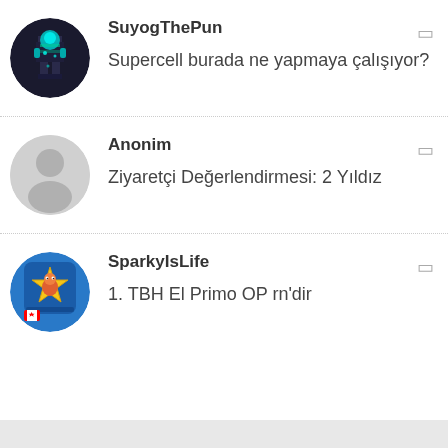[Figure (illustration): Avatar of SuyogThePun: pixelated game character with teal glowing elements on dark background, circular crop]
SuyogThePun
Supercell burada ne yapmaya çalışıyor?
[Figure (illustration): Anonymous user avatar: grey silhouette of a person on light grey circle]
Anonim
Ziyaretçi Değerlendirmesi: 2 Yıldız
[Figure (illustration): Avatar of SparkyIsLife: Brawl Stars game logo with gold star and Sparky character, Canadian flag emoji overlay, blue background, circular crop]
SparkyIsLife
1. TBH El Primo OP rn'dir